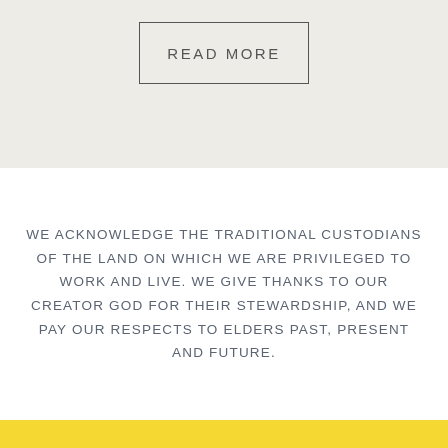[Figure (other): Button/CTA box with text READ MORE on a beige/off-white background band]
WE ACKNOWLEDGE THE TRADITIONAL CUSTODIANS OF THE LAND ON WHICH WE ARE PRIVILEGED TO WORK AND LIVE. WE GIVE THANKS TO OUR CREATOR GOD FOR THEIR STEWARDSHIP, AND WE PAY OUR RESPECTS TO ELDERS PAST, PRESENT AND FUTURE.